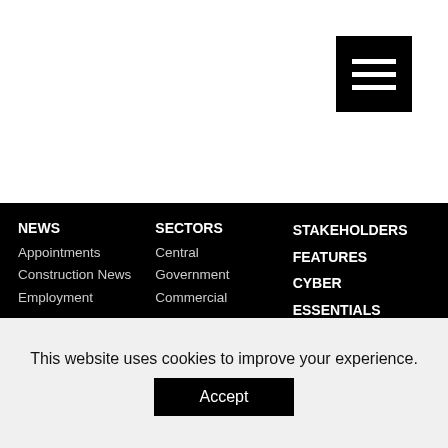[Figure (screenshot): Hamburger menu icon button (three white horizontal lines on black background) in the top-right corner of the page.]
NEWS
Appointments
Construction News
Employment
SECTORS
Central
Government
Commercial
STAKEHOLDERS
FEATURES
CYBER ESSENTIALS
EBOOKS
This website uses cookies to improve your experience.
Accept